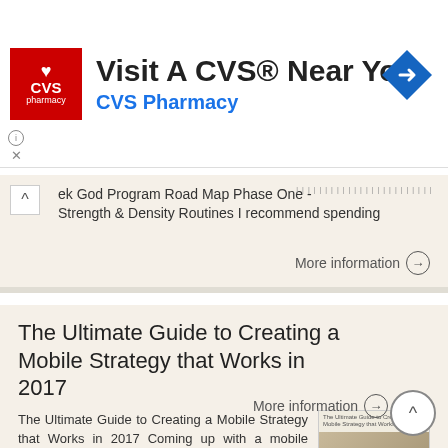[Figure (screenshot): CVS Pharmacy advertisement banner with red CVS logo, 'Visit A CVS® Near You' headline, CVS Pharmacy link in blue, and a blue map direction icon on the right]
ek God Program Road Map Phase One - Strength & Density Routines I recommend spending
More information →
The Ultimate Guide to Creating a Mobile Strategy that Works in 2017
The Ultimate Guide to Creating a Mobile Strategy that Works in 2017 Coming up with a mobile strategy for any company, big or small, is a daunting task. There are so many considerations to take into account,
More information →